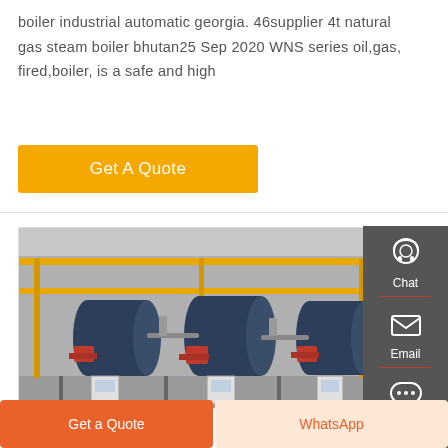boiler industrial automatic georgia. 46supplier 4t natural gas steam boiler bhutan25 Sep 2020 WNS series oil,gas, fired,boiler, is a safe and high
Get A Quote
[Figure (photo): Industrial boiler room with three large horizontal steam boilers in blue/dark color, yellow piping overhead, red burners, control panels, in a factory setting]
Chat
Email
Contact
Get a Quote
WhatsApp